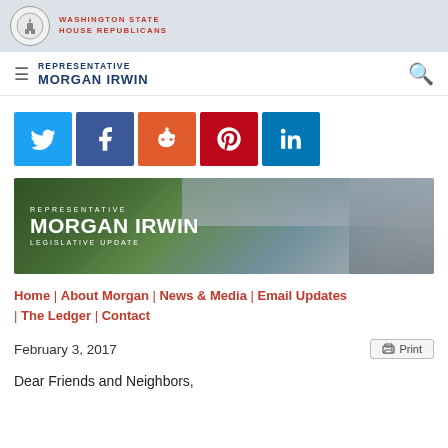WASHINGTON STATE HOUSE REPUBLICANS
REPRESENTATIVE MORGAN IRWIN
[Figure (infographic): Social media share buttons: Twitter (blue), Facebook (dark blue), Reddit (orange), Pinterest (red), LinkedIn (blue)]
[Figure (photo): Representative Morgan Irwin Legislative Update banner with mountain background and photo of Representative Irwin]
Home | About Morgan | News & Media | Email Updates | The Ledger | Contact
February 3, 2017
Dear Friends and Neighbors,